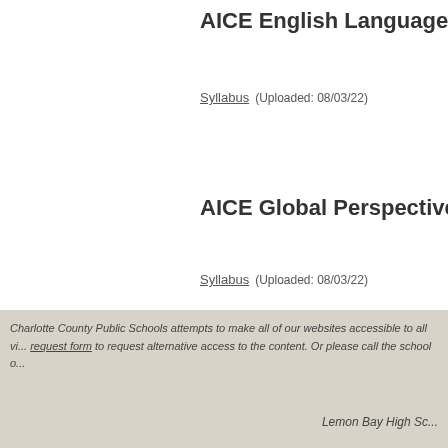AICE English Language
Syllabus  (Uploaded: 08/03/22)
AICE Global Perspectives
Syllabus  (Uploaded: 08/03/22)
Charlotte County Public Schools attempts to make all of our websites accessible to all vi... request form to request alternative access to the content. Or please call the school o...
Lemon Bay High Sc...